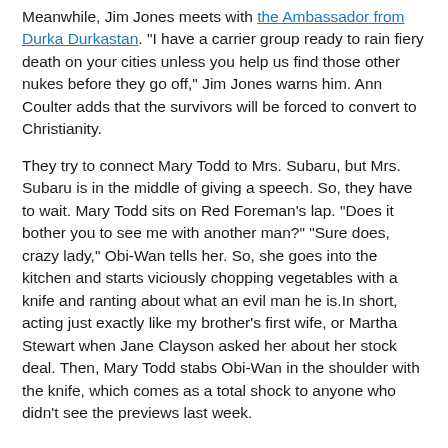Meanwhile, Jim Jones meets with the Ambassador from Durka Durkastan. "I have a carrier group ready to rain fiery death on your cities unless you help us find those other nukes before they go off," Jim Jones warns him. Ann Coulter adds that the survivors will be forced to convert to Christianity.
They try to connect Mary Todd to Mrs. Subaru, but Mrs. Subaru is in the middle of giving a speech. So, they have to wait. Mary Todd sits on Red Foreman's lap. "Does it bother you to see me with another man?" "Sure does, crazy lady," Obi-Wan tells her. So, she goes into the kitchen and starts viciously chopping vegetables with a knife and ranting about what an evil man he is.In short, acting just exactly like my brother's first wife, or Martha Stewart when Jane Clayson asked her about her stock deal. Then, Mary Todd stabs Obi-Wan in the shoulder with the knife, which comes as a total shock to anyone who didn't see the previews last week.
06:53:14 to 06:59:59
Obi-Wan is rushed out of the house and...